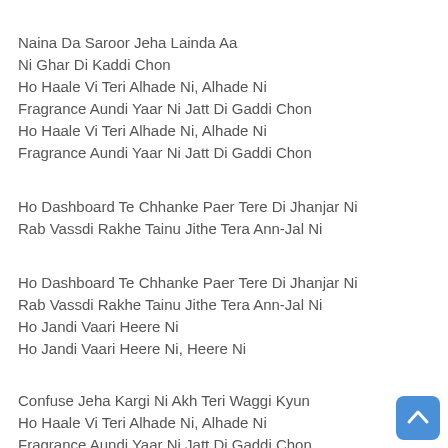Naina Da Saroor Jeha Lainda Aa
Ni Ghar Di Kaddi Chon
Ho Haale Vi Teri Alhade Ni, Alhade Ni
Fragrance Aundi Yaar Ni Jatt Di Gaddi Chon
Ho Haale Vi Teri Alhade Ni, Alhade Ni
Fragrance Aundi Yaar Ni Jatt Di Gaddi Chon
Ho Dashboard Te Chhanke Paer Tere Di Jhanjar Ni
Rab Vassdi Rakhe Tainu Jithe Tera Ann-Jal Ni
Ho Dashboard Te Chhanke Paer Tere Di Jhanjar Ni
Rab Vassdi Rakhe Tainu Jithe Tera Ann-Jal Ni
Ho Jandi Vaari Heere Ni
Ho Jandi Vaari Heere Ni, Heere Ni
Confuse Jeha Kargi Ni Akh Teri Waggi Kyun
Ho Haale Vi Teri Alhade Ni, Alhade Ni
Fragrance Aundi Yaar Ni Jatt Di Gaddi Chon